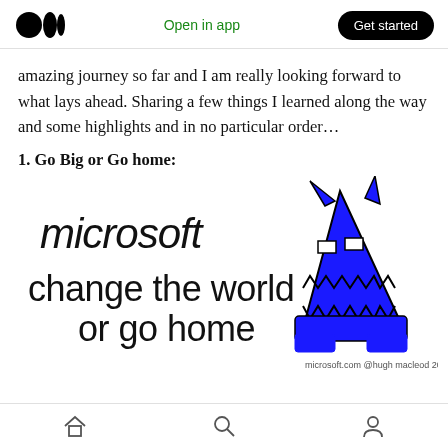Open in app | Get started
amazing journey so far and I am really looking forward to what lays ahead. Sharing a few things I learned along the way and some highlights and in no particular order…
1. Go Big or Go home:
[Figure (illustration): Hand-drawn illustration with handwritten text reading 'microsoft change the world or go home' with a blue cartoon monster/wizard character. Caption reads 'microsoft.com @hugh macleod 2006']